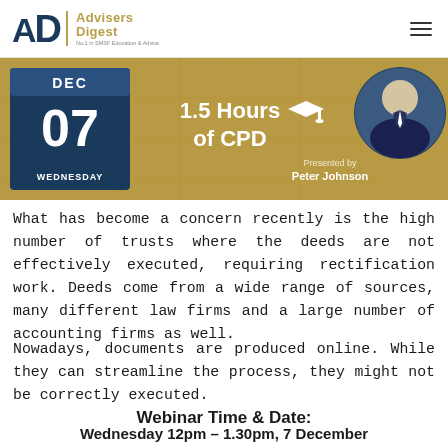Advisers Digest — No.1 in SMSF Education & Advice
[Figure (infographic): Gold banner showing DEC 07 WEDNESDAY date, 1.5 Hours of CPD with graduation cap icon, and a circular photo of presenter Peter Johnson in a suit]
What has become a concern recently is the high number of trusts where the deeds are not effectively executed, requiring rectification work. Deeds come from a wide range of sources, many different law firms and a large number of accounting firms as well.
Nowadays, documents are produced online. While they can streamline the process, they might not be correctly executed.
Webinar Time & Date:
Wednesday 12pm – 1.30pm, 7 December